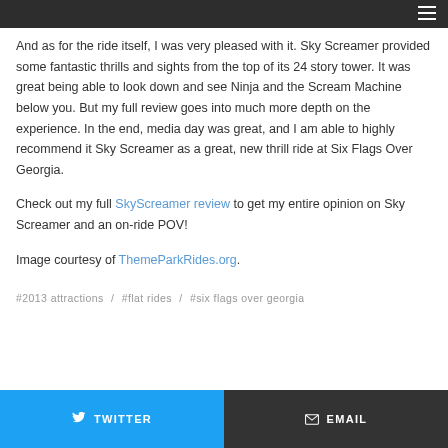And as for the ride itself, I was very pleased with it. Sky Screamer provided some fantastic thrills and sights from the top of its 24 story tower. It was great being able to look down and see Ninja and the Scream Machine below you. But my full review goes into much more depth on the experience. In the end, media day was great, and I am able to highly recommend it Sky Screamer as a great, new thrill ride at Six Flags Over Georgia.
Check out my full SkyScreamer review to get my entire opinion on Sky Screamer and an on-ride POV!
Image courtesy of ThemeParkRides.org.
#2013 attractions  /  #flat rides  /  #six flags over georgia
TWITTER  EMAIL